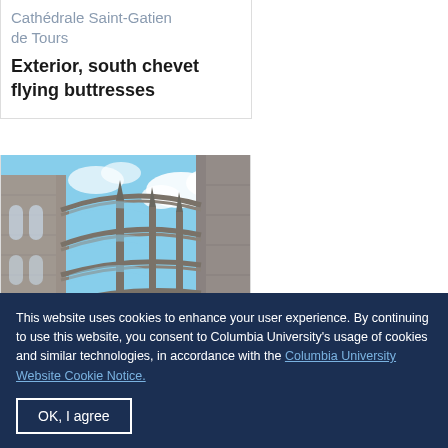Cathédrale Saint-Gatien de Tours
Exterior, south chevet flying buttresses
[Figure (photo): Photograph of the exterior south chevet flying buttresses of Cathédrale Saint-Gatien de Tours, showing Gothic stone arches and buttresses against a blue sky with clouds]
This website uses cookies to enhance your user experience. By continuing to use this website, you consent to Columbia University's usage of cookies and similar technologies, in accordance with the Columbia University Website Cookie Notice.
OK, I agree